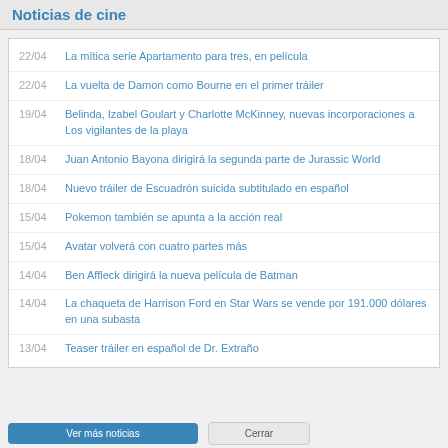Noticias de cine
22/04 La mítica serie Apartamento para tres, en película
22/04 La vuelta de Damon como Bourne en el primer tráiler
19/04 Belinda, Izabel Goulart y Charlotte McKinney, nuevas incorporaciones a Los vigilantes de la playa
18/04 Juan Antonio Bayona dirigirá la segunda parte de Jurassic World
18/04 Nuevo tráiler de Escuadrón suicida subtitulado en español
15/04 Pokemon también se apunta a la acción real
15/04 Avatar volverá con cuatro partes más
14/04 Ben Affleck dirigirá la nueva película de Batman
14/04 La chaqueta de Harrison Ford en Star Wars se vende por 191.000 dólares en una subasta
13/04 Teaser tráiler en español de Dr. Extraño